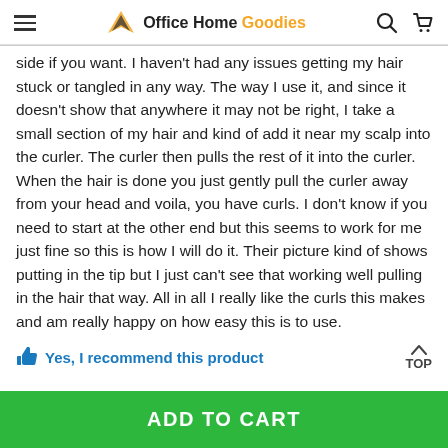Office Home Goodies
side if you want. I haven't had any issues getting my hair stuck or tangled in any way. The way I use it, and since it doesn't show that anywhere it may not be right, I take a small section of my hair and kind of add it near my scalp into the curler. The curler then pulls the rest of it into the curler. When the hair is done you just gently pull the curler away from your head and voila, you have curls. I don't know if you need to start at the other end but this seems to work for me just fine so this is how I will do it. Their picture kind of shows putting in the tip but I just can't see that working well pulling in the hair that way. All in all I really like the curls this makes and am really happy on how easy this is to use.
Yes, I recommend this product
ADD TO CART